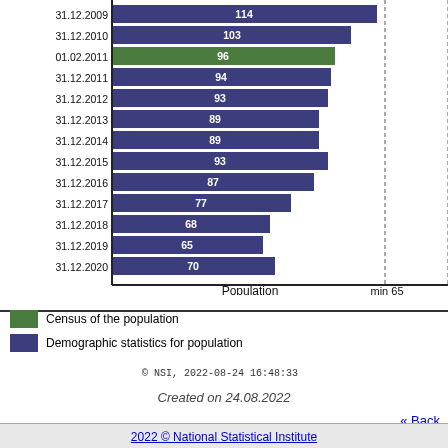[Figure (bar-chart): Population over time]
min 65    max 71
Census of the population
Demographic statistics for population
© NSI, 2022-08-24 16:48:33
Created on 24.08.2022
« Back
2022 © National Statistical Institute